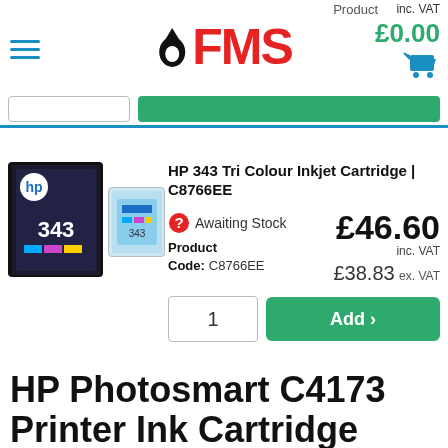Product | OFMS | inc. VAT £0.00
HP 343 Tri Colour Inkjet Cartridge | C8766EE
Awaiting Stock
Product Code: C8766EE
£46.60 inc. VAT
£38.83 ex. VAT
HP Photosmart C4173 Printer Ink Cartridge